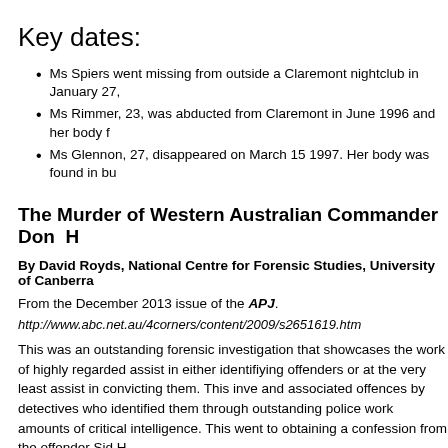Key dates:
Ms Spiers went missing from outside a Claremont nightclub in January 27,
Ms Rimmer, 23, was abducted from Claremont in June 1996 and her body f
Ms Glennon, 27, disappeared on March 15 1997. Her body was found in bu
The Murder of Western Australian Commander Don H
By David Royds, National Centre for Forensic Studies, University of Canberra
From the December 2013 issue of the APJ.
http://www.abc.net.au/4corners/content/2009/s2651619.htm
This was an outstanding forensic investigation that showcases the work of highly regarded assist in either identifiying offenders or at the very least assist in convicting them. This inve and associated offences by detectives who identified them through outstanding police work amounts of critical intelligence. This went to obtaining a confession from the offender Sid H
Abstract